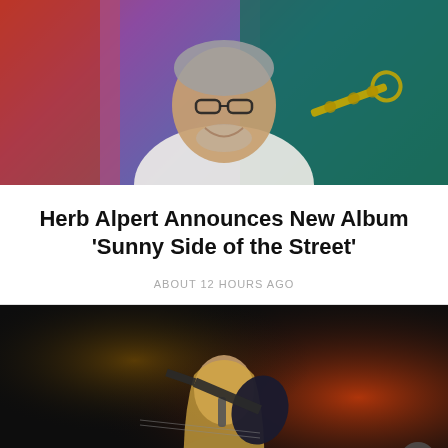[Figure (photo): Older man with gray hair and glasses smiling, holding a trumpet, in front of colorful background]
Herb Alpert Announces New Album ‘Sunny Side of the Street’
ABOUT 12 HOURS AGO
[Figure (photo): Musician with long blonde hair playing electric guitar on stage with dramatic red and orange lighting]